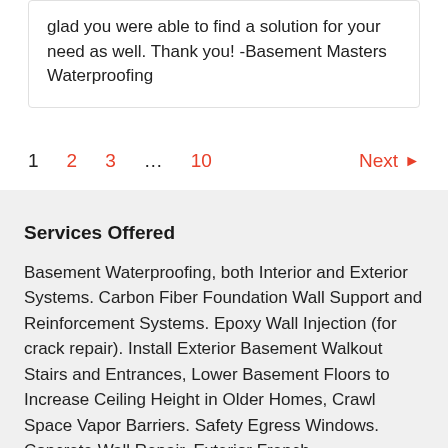glad you were able to find a solution for your need as well. Thank you! -Basement Masters Waterproofing
1  2  3  ...  10  Next ▶
Services Offered
Basement Waterproofing, both Interior and Exterior Systems. Carbon Fiber Foundation Wall Support and Reinforcement Systems. Epoxy Wall Injection (for crack repair). Install Exterior Basement Walkout Stairs and Entrances, Lower Basement Floors to Increase Ceiling Height in Older Homes, Crawl Space Vapor Barriers. Safety Egress Windows. Concrete Wall Repair. Exterior French